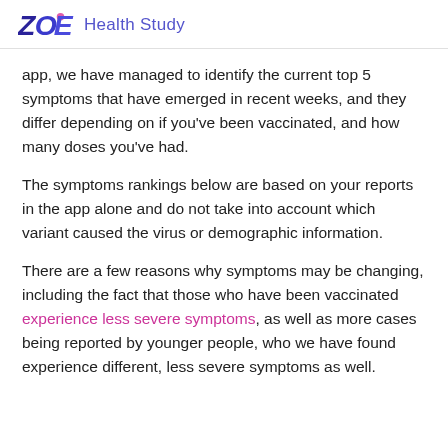ZOE Health Study
app, we have managed to identify the current top 5 symptoms that have emerged in recent weeks, and they differ depending on if you've been vaccinated, and how many doses you've had.
The symptoms rankings below are based on your reports in the app alone and do not take into account which variant caused the virus or demographic information.
There are a few reasons why symptoms may be changing, including the fact that those who have been vaccinated experience less severe symptoms, as well as more cases being reported by younger people, who we have found experience different, less severe symptoms as well.